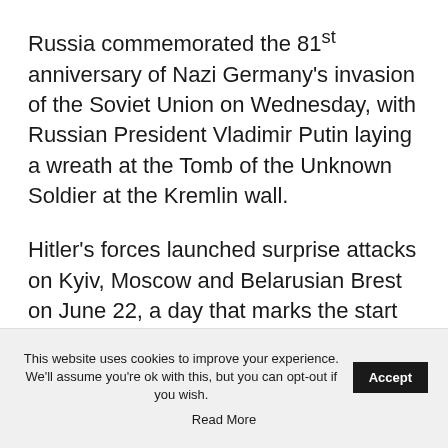Russia commemorated the 81st anniversary of Nazi Germany's invasion of the Soviet Union on Wednesday, with Russian President Vladimir Putin laying a wreath at the Tomb of the Unknown Soldier at the Kremlin wall.
Hitler's forces launched surprise attacks on Kyiv, Moscow and Belarusian Brest on June 22, a day that marks the start of what Russia calls the Great Patriotic War and is today known in the country as Day of Remembrance and Sorrow.
This website uses cookies to improve your experience. We'll assume you're ok with this, but you can opt-out if you wish. Accept Read More